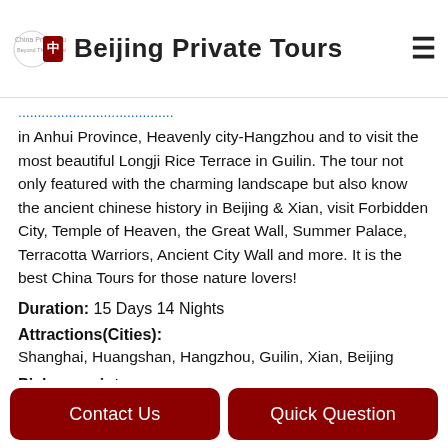Beijing Private Tours
in Anhui Province, Heavenly city-Hangzhou and to visit the most beautiful Longji Rice Terrace in Guilin. The tour not only featured with the charming landscape but also know the ancient chinese history in Beijing & Xian, visit Forbidden City, Temple of Heaven, the Great Wall, Summer Palace, Terracotta Warriors, Ancient City Wall and more. It is the best China Tours for those nature lovers!
Duration: 15 Days 14 Nights
Attractions(Cities):
Shanghai, Huangshan, Hangzhou, Guilin, Xian, Beijing
Pick-up point:
Shanghai International Airport (based on your requirement)
Finishing point:
Beijing International Airport (based on your requirement)
Tour Customizable:
Contact Us
Quick Question